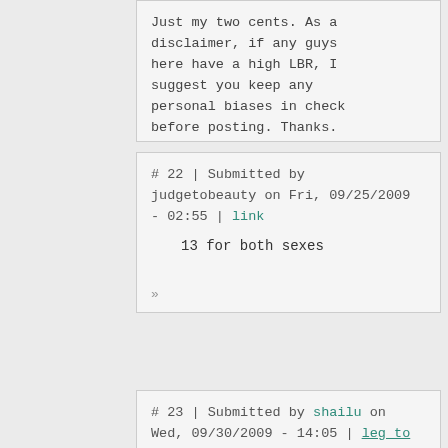Just my two cents. As a disclaimer, if any guys here have a high LBR, I suggest you keep any personal biases in check before posting. Thanks.
»
# 22 | Submitted by judgetobeauty on Fri, 09/25/2009 - 02:55 | link
13 for both sexes
»
# 23 | Submitted by shailu on Wed, 09/30/2009 - 14:05 | leg_to_height_ratio